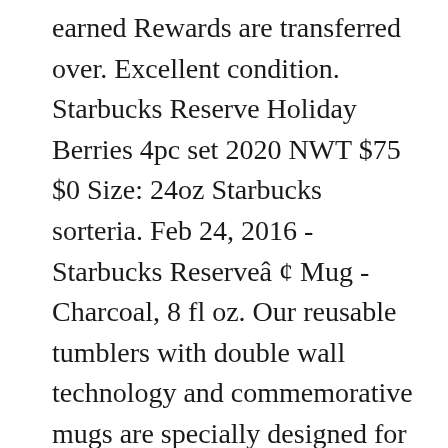earned Rewards are transferred over. Excellent condition. Starbucks Reserve Holiday Berries 4pc set 2020 NWT $75 $0 Size: 24oz Starbucks sorteria. Feb 24, 2016 - Starbucks Reserveâ¢ Mug - Charcoal, 8 fl oz. Our reusable tumblers with double wall technology and commemorative mugs are specially designed for any season. Starbucks Coffee Pike Place Sketch Double Wall Ceramic Travel Mug, 12 oz. Starbucks® Muan Jaiâ¢ Blend is fairly traded and grown under shade trees. $45.00 $ 45. In stock on December 25, 2020. Welcome to Starbucks Singapore â    Login Join Now. ... Starbucks Coffee Mug From Starbucks First Store in the Pike Place Market in Seattle. Shop by category. See more ideas about Starbucks